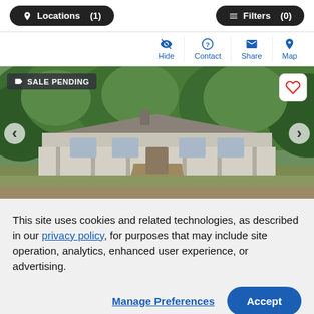[Figure (screenshot): Top navigation bar with Locations (1) and Filters (0) buttons]
[Figure (screenshot): Action icons row: Hide, Contact, Share, Map]
[Figure (photo): Exterior photo of a ranch-style house with wraparound porch, surrounded by large green trees. Overlay badge reads SALE PENDING. Heart/favorite button in top right. Navigation arrows on sides.]
This site uses cookies and related technologies, as described in our privacy policy, for purposes that may include site operation, analytics, enhanced user experience, or advertising.
Manage Preferences  Accept